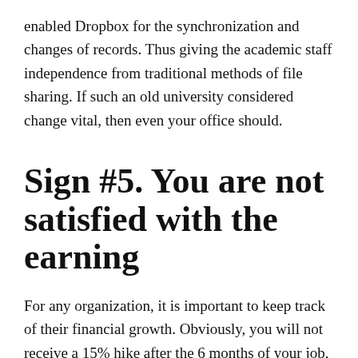enabled Dropbox for the synchronization and changes of records. Thus giving the academic staff independence from traditional methods of file sharing. If such an old university considered change vital, then even your office should.
Sign #5. You are not satisfied with the earning
For any organization, it is important to keep track of their financial growth. Obviously, you will not receive a 15% hike after the 6 months of your job, but if it does